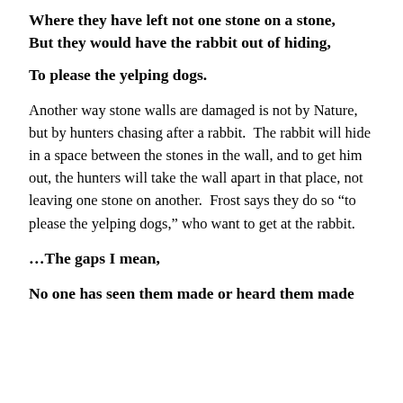Where they have left not one stone on a stone,
But they would have the rabbit out of hiding,
To please the yelping dogs.
Another way stone walls are damaged is not by Nature, but by hunters chasing after a rabbit.  The rabbit will hide in a space between the stones in the wall, and to get him out, the hunters will take the wall apart in that place, not leaving one stone on another.  Frost says they do so “to please the yelping dogs,” who want to get at the rabbit.
…The gaps I mean,
No one has seen them made or heard them made